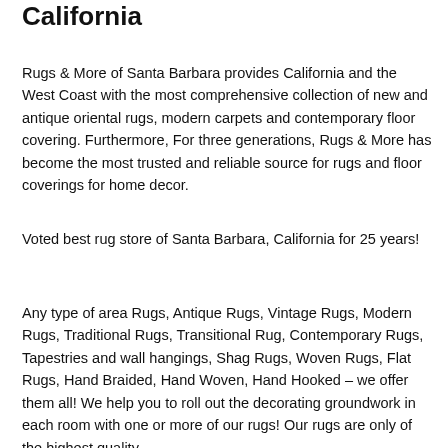California
Rugs & More of Santa Barbara provides California and the West Coast with the most comprehensive collection of new and antique oriental rugs, modern carpets and contemporary floor covering. Furthermore, For three generations, Rugs & More has become the most trusted and reliable source for rugs and floor coverings for home decor.
Voted best rug store of Santa Barbara, California for 25 years!
Any type of area Rugs, Antique Rugs, Vintage Rugs, Modern Rugs, Traditional Rugs, Transitional Rug, Contemporary Rugs, Tapestries and wall hangings, Shag Rugs, Woven Rugs, Flat Rugs, Hand Braided, Hand Woven, Hand Hooked – we offer them all! We help you to roll out the decorating groundwork in each room with one or more of our rugs! Our rugs are only of the highest quality.